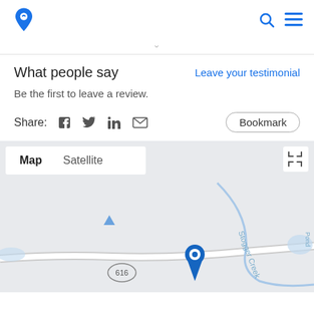Navigation/location app header with logo, search icon, and menu icon
What people say
Leave your testimonial
Be the first to leave a review.
Share: [facebook] [twitter] [linkedin] [email]   Bookmark
[Figure (map): Google Maps embed showing a location pin near Stogger Creek and route 616. Map/Satellite tabs visible at top left with fullscreen icon at top right.]